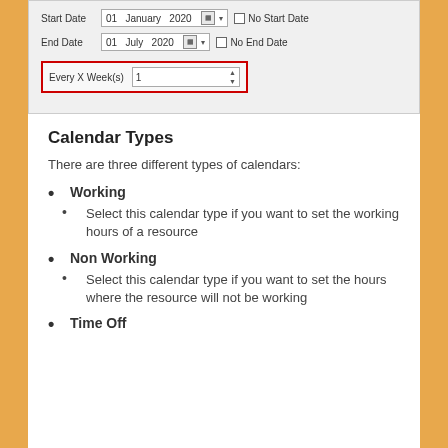[Figure (screenshot): A UI form panel showing date range fields (Start Date: 01 January 2020, End Date: 01 July 2020) with calendar icons and No Start/End Date checkboxes, and a highlighted 'Every X Week(s)' spinner field set to 1, outlined with a red border.]
Calendar Types
There are three different types of calendars:
Working
Select this calendar type if you want to set the working hours of a resource
Non Working
Select this calendar type if you want to set the hours where the resource will not be working
Time Off